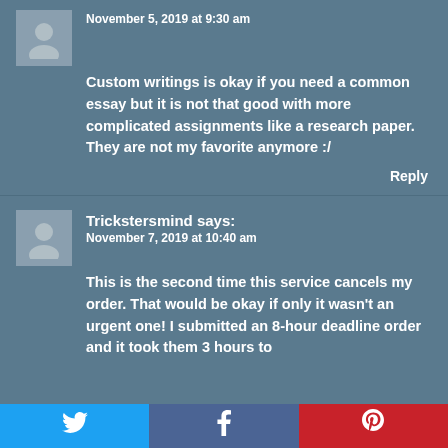November 5, 2019 at 9:30 am
Custom writings is okay if you need a common essay but it is not that good with more complicated assignments like a research paper. They are not my favorite anymore :/
Reply
Trickstersmind says:
November 7, 2019 at 10:40 am
This is the second time this service cancels my order. That would be okay if only it wasn't an urgent one! I submitted an 8-hour deadline order and it took them 3 hours to
[Figure (other): Social sharing bar with Twitter, Facebook, and Pinterest buttons]